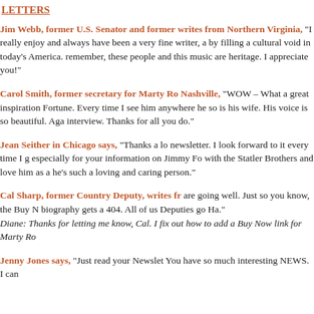LETTERS
Jim Webb, former U.S. Senator and former Secretary of the Navy, writes from Northern Virginia, “I really enjoy… and always have been a very fine writer, and by filling a cultural void in today’s America. remember, these people and this music are heritage. I appreciate you!”
Carol Smith, former secretary for Marty Ro Nashville, “WOW – What a great inspiration Fortune. Every time I see him anywhere he so is his wife. His voice is so beautiful. Aga interview. Thanks for all you do.”
Jean Seither in Chicago says, “Thanks a lo newsletter. I look forward to it every time I g especially for your information on Jimmy Fo with the Statler Brothers and love him as a he’s such a loving and caring person.”
Cal Sharp, former Country Deputy, writes fr are going well. Just so you know, the Buy N biography gets a 404. All of us Deputies go Ha.” Diane: Thanks for letting me know, Cal. I fix out how to add a Buy Now link for Marty Ro
Jenny Jones says, “Just read your Newslet You have so much interesting NEWS. I can